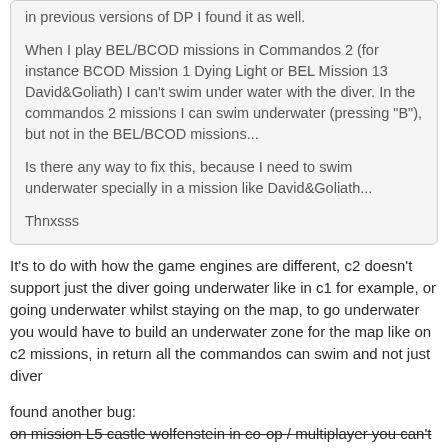in previous versions of DP I found it as well.
When I play BEL/BCOD missions in Commandos 2 (for instance BCOD Mission 1 Dying Light or BEL Mission 13 David&Goliath) I can't swim under water with the diver. In the commandos 2 missions I can swim underwater (pressing "B"), but not in the BEL/BCOD missions...
Is there any way to fix this, because I need to swim underwater specially in a mission like David&Goliath...
Thnxsss
It's to do with how the game engines are different, c2 doesn't support just the diver going underwater like in c1 for example, or going underwater whilst staying on the map, to go underwater you would have to build an underwater zone for the map like on c2 missions, in return all the commandos can swim and not just diver
found another bug:
on mission L5 castle wolfenstein in co-op / multiplayer you can't select driver and sniper, need to add CONDUCTOR FRANCOTIRADOR in misones.dat file for that mission to fix [strikethrough] fixed in 1.43